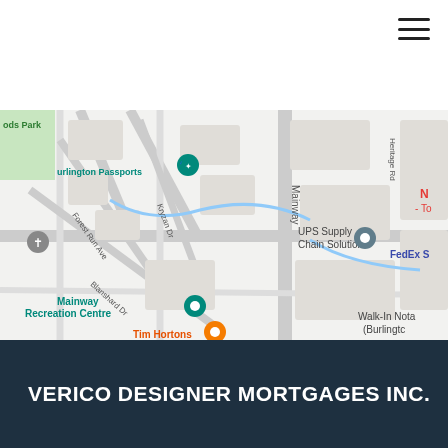[Figure (map): Google Maps screenshot showing Burlington, Ontario area with labels including Burlington Passports, UPS Supply Chain Solutions, Mainway Recreation Centre, Tim Hortons, FedEx, Walk-In Nota (Burlington), Heritage Rd, Mainway road, Forest Run Ave, Kryzan Dr, Blanshard Dr, Roads Park]
VERICO DESIGNER MORTGAGES INC.